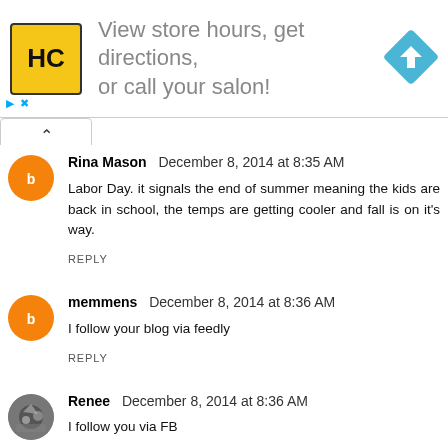[Figure (infographic): Advertisement banner: HC logo (yellow square with HC text), text 'View store hours, get directions, or call your salon!', blue diamond direction arrow icon on right. Small play and close controls at bottom left.]
Rina Mason  December 8, 2014 at 8:35 AM
Labor Day. it signals the end of summer meaning the kids are back in school, the temps are getting cooler and fall is on it's way.
REPLY
memmens  December 8, 2014 at 8:36 AM
I follow your blog via feedly
REPLY
Renee  December 8, 2014 at 8:36 AM
I follow you via FB
REPLY